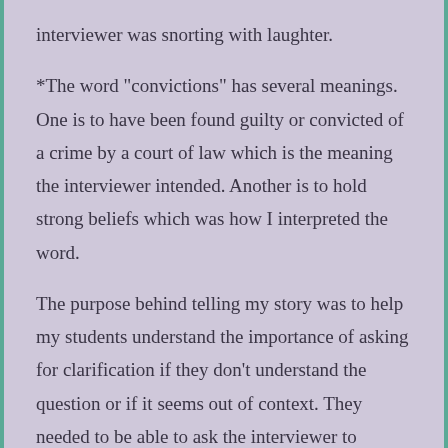interviewer was snorting with laughter.
*The word "convictions" has several meanings. One is to have been found guilty or convicted of a crime by a court of law which is the meaning the interviewer intended. Another is to hold strong beliefs which was how I interpreted the word.
The purpose behind telling my story was to help my students understand the importance of asking for clarification if they don't understand the question or if it seems out of context. They needed to be able to ask the interviewer to rephrase it in